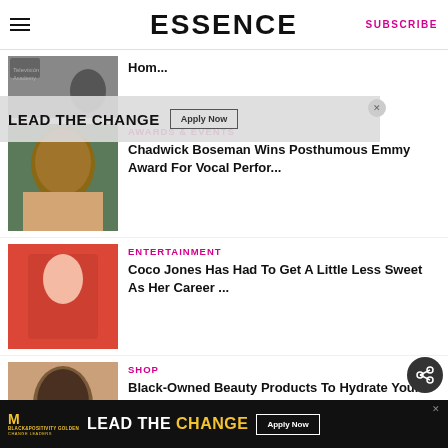ESSENCE   SUBSCRIBE
Hom...
AWARDS & EVENTS
Chadwick Boseman Wins Posthumous Emmy Award For Vocal Perfor...
ENTERTAINMENT
Coco Jones Has Had To Get A Little Less Sweet As Her Career ...
SHOP
Black-Owned Beauty Products To Hydrate Your Skin This Fall
[Figure (infographic): LEAD THE CHANGE advertisement banner with Apply Now button]